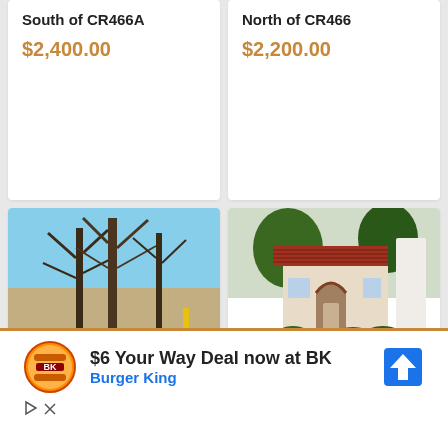South of CR466A
$2,400.00
North of CR466
$2,200.00
[Figure (photo): Bare winter trees with black fence in rural/field setting]
Patio Villa in Rio
[Figure (photo): Spanish-style house with red tile roof, green lawn, shrubs]
6 months rental
[Figure (other): Burger King advertisement: $6 Your Way Deal now at BK, with BK logo and navigation arrow icon]